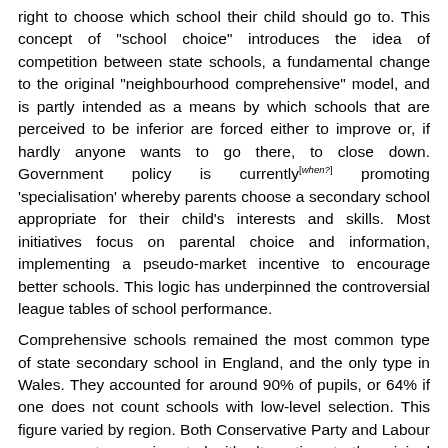right to choose which school their child should go to. This concept of "school choice" introduces the idea of competition between state schools, a fundamental change to the original "neighbourhood comprehensive" model, and is partly intended as a means by which schools that are perceived to be inferior are forced either to improve or, if hardly anyone wants to go there, to close down. Government policy is currently[when?] promoting 'specialisation' whereby parents choose a secondary school appropriate for their child's interests and skills. Most initiatives focus on parental choice and information, implementing a pseudo-market incentive to encourage better schools. This logic has underpinned the controversial league tables of school performance. Comprehensive schools remained the most common type of state secondary school in England, and the only type in Wales. They accounted for around 90% of pupils, or 64% if one does not count schools with low-level selection. This figure varied by region. Both Conservative Party and Labour governments experimented with alternatives to the original neighbourhood comprehensive.[4] Experiments have included: